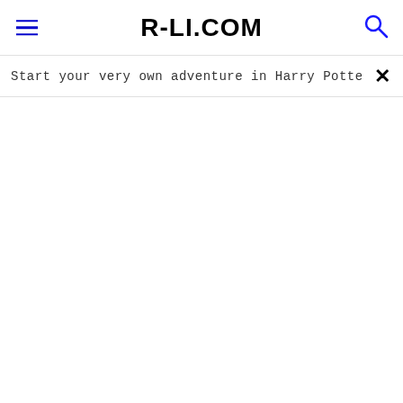R-LI.COM
Start your very own adventure in Harry Potter: Hogwa